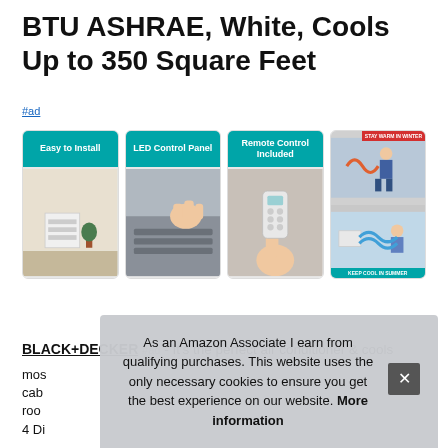BTU ASHRAE, White, Cools Up to 350 Square Feet
#ad
[Figure (photo): Four product images in card layout. Card 1: 'Easy to Install' teal badge, AC unit photo. Card 2: 'LED Control Panel' teal badge, hand touching control panel. Card 3: 'Remote Control Included' teal badge, hand holding remote. Card 4: split with red 'STAY WARM IN WINTER' and teal 'KEEP COOL IN SUMMER' badges, seasonal use images.]
BLACK+DECKER #ad - It's the perfect air conditioner & cools most rooms, cabinets, or room... 4 Di
As an Amazon Associate I earn from qualifying purchases. This website uses the only necessary cookies to ensure you get the best experience on our website. More information